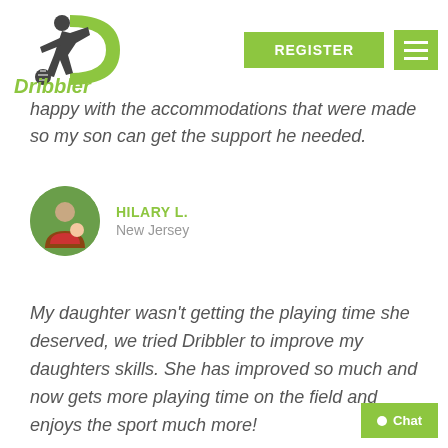[Figure (logo): Dribbler soccer logo with player silhouette and green D shape]
happy with the accommodations that were made so my son can get the support he needed.
HILARY L.
New Jersey
My daughter wasn't getting the playing time she deserved, we tried Dribbler to improve my daughters skills. She has improved so much and now gets more playing time on the field and enjoys the sport much more!